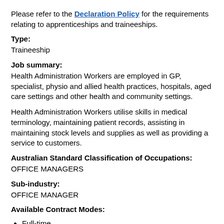Please refer to the Declaration Policy for the requirements relating to apprenticeships and traineeships.
Type:
Traineeship
Job summary:
Health Administration Workers are employed in GP, specialist, physio and allied health practices, hospitals, aged care settings and other health and community settings.
Health Administration Workers utilise skills in medical terminology, maintaining patient records, assisting in maintaining stock levels and supplies as well as providing a service to customers.
Australian Standard Classification of Occupations:
OFFICE MANAGERS
Sub-industry:
OFFICE MANAGER
Available Contract Modes:
Full-time
The lodgment of a second training contract where one of the training contracts is full-time will be reviewed by the